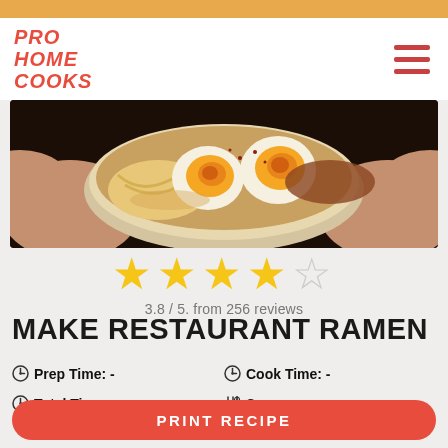PRO HOME COOKS
[Figure (photo): Close-up photo of a bowl of ramen soup with soft-boiled eggs, noodles, and broth, held by two hands]
3.8 / 5. from 256 reviews
MAKE RESTAURANT RAMEN
Prep Time: -
Cook Time: -
Total Time: -
Serves: -
PRINT RECIPE